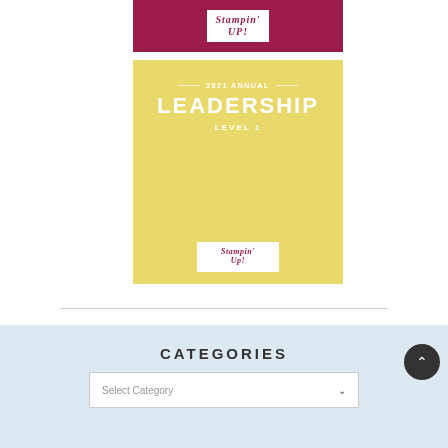[Figure (logo): Stampin' Up! logo on crimson/dark pink banner background]
[Figure (illustration): Yellow/gold card with white text: '2021 ANNUAL LEADERSHIP LEVEL 1' and Stampin' Up! logo at bottom]
CATEGORIES
[Figure (screenshot): Select Category dropdown input field with down-arrow chevron]